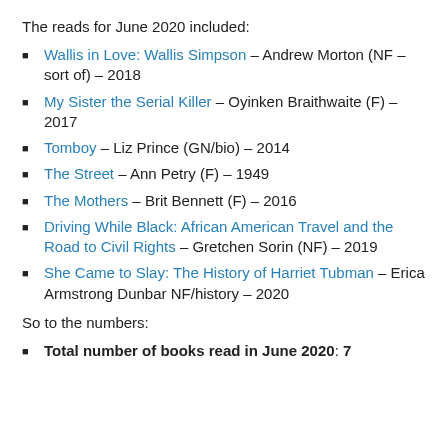The reads for June 2020 included:
Wallis in Love: Wallis Simpson – Andrew Morton (NF – sort of) – 2018
My Sister the Serial Killer – Oyinken Braithwaite (F) – 2017
Tomboy – Liz Prince (GN/bio) – 2014
The Street – Ann Petry (F) – 1949
The Mothers – Brit Bennett (F) – 2016
Driving While Black: African American Travel and the Road to Civil Rights – Gretchen Sorin (NF) – 2019
She Came to Slay: The History of Harriet Tubman – Erica Armstrong Dunbar NF/history – 2020
So to the numbers:
Total number of books read in June 2020: 7